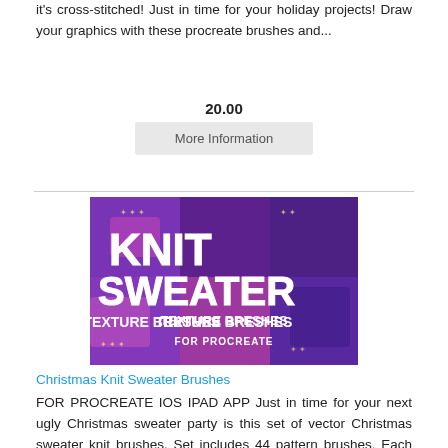it's cross-stitched! Just in time for your holiday projects! Draw your graphics with these procreate brushes and...
20.00
More Information
[Figure (illustration): Promotional image for Christmas Knit Sweater Texture Brushes for Procreate, showing colorful knit sweater patterns with text KNIT SWEATER TEXTURE BRESHES FOR PROCREATE on a purple/pink patterned background]
Christmas Knit Sweater Brushes
FOR PROCREATE IOS IPAD APP Just in time for your next ugly Christmas sweater party is this set of vector Christmas sweater knit brushes. Set includes 44 pattern brushes. Each brush is fully stitched f...